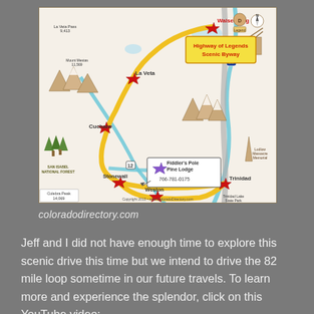[Figure (map): Illustrated tourist map of the Highway of Legends Scenic Byway in Colorado, showing a yellow route loop connecting towns including Walsenburg, La Veta, Cuchara, Stonewall, Weston, Trinidad, and others. Features illustrated mountains, forests, rivers, and landmarks including Fiddler's Pole Pine Lodge with phone number 766-781-0175. Copyright 2013 www.ColoradoDirectory.com]
coloradodirectory.com
Jeff and I did not have enough time to explore this scenic drive this time but we intend to drive the 82 mile loop sometime in our future travels. To learn more and experience the splendor, click on this YouTube video: